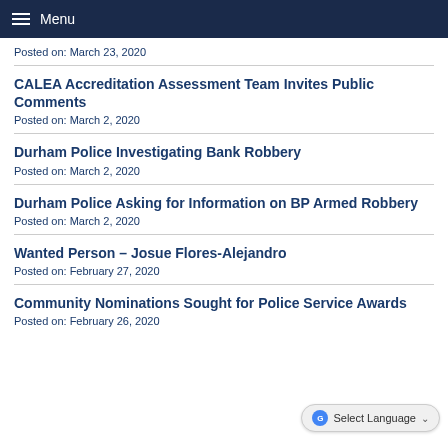Menu
Posted on: March 23, 2020
CALEA Accreditation Assessment Team Invites Public Comments
Posted on: March 2, 2020
Durham Police Investigating Bank Robbery
Posted on: March 2, 2020
Durham Police Asking for Information on BP Armed Robbery
Posted on: March 2, 2020
Wanted Person – Josue Flores-Alejandro
Posted on: February 27, 2020
Community Nominations Sought for Police Service Awards
Posted on: February 26, 2020